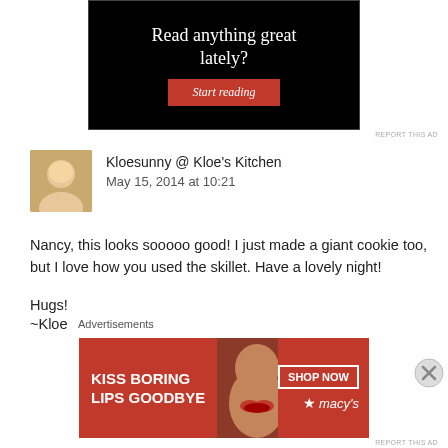[Figure (other): Black advertisement banner with white text 'Read anything great lately?' and a red 'Start reading' button]
REPORT THIS AD
Kloesunny @ Kloe's Kitchen
May 15, 2014 at 10:21
Nancy, this looks sooooo good! I just made a giant cookie too, but I love how you used the skillet. Have a lovely night!
Hugs!
~Kloe
Advertisements
[Figure (other): Red Macy's advertisement banner: 'KISS BORING LIPS GOODBYE' with a woman's face and red lips, 'SHOP NOW' button and Macy's star logo]